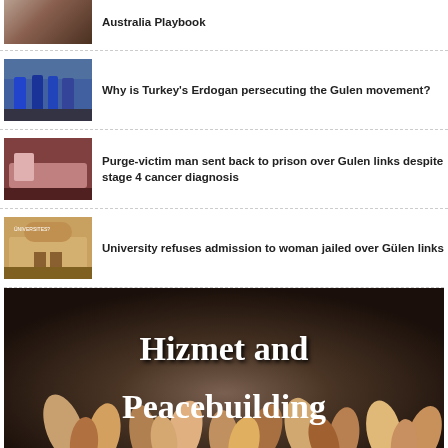Australia Playbook
[Figure (photo): Thumbnail image related to Australia Playbook article]
Why is Turkey's Erdogan persecuting the Gulen movement?
[Figure (photo): Thumbnail image showing people being escorted by police]
Purge-victim man sent back to prison over Gulen links despite stage 4 cancer diagnosis
[Figure (photo): Thumbnail image of a person in hospital bed]
University refuses admission to woman jailed over Gülen links
[Figure (photo): Thumbnail image of a university building]
[Figure (photo): Large banner image with text 'Hizmet and Peacebuilding' overlaid on a photo of diverse hands joined together]